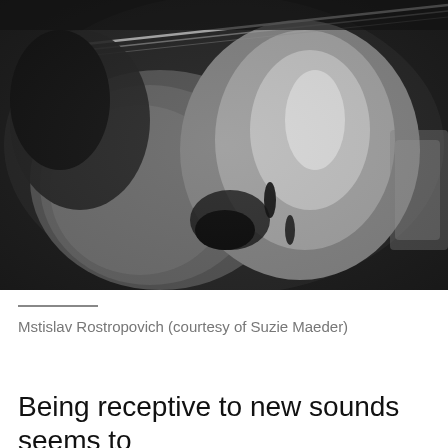[Figure (photo): Black and white close-up photograph of a cello being played, showing the body of the instrument and bow in motion, associated with Mstislav Rostropovich]
Mstislav Rostropovich (courtesy of Suzie Maeder)
Being receptive to new sounds seems to